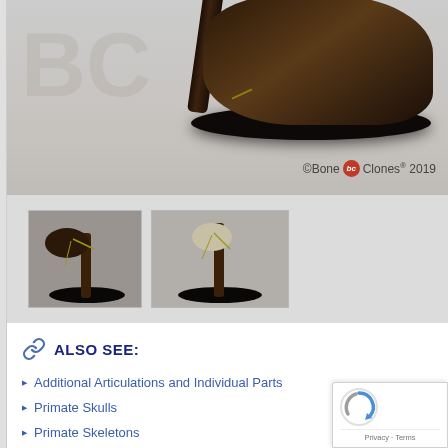[Figure (photo): Product photo of a primate specimen (hand/arm articulation) mounted on a dark circular wooden base, shown against a light gray background with Bone Clones watermark. Copyright text reads '©Bone Clones® 2019'.]
[Figure (photo): Thumbnail gallery showing two smaller product photos of the same primate articulation specimen on its wooden mount base.]
ALSO SEE:
Additional Articulations and Individual Parts
Primate Skulls
Primate Skeletons
Primate Life Casts